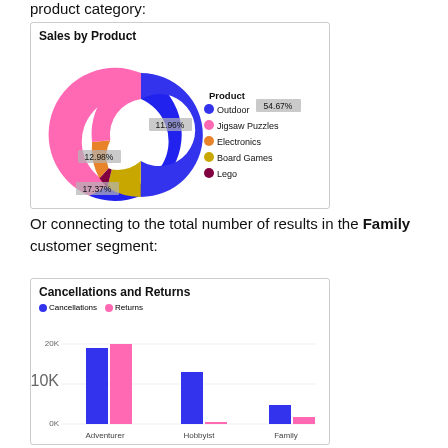product category:
[Figure (donut-chart): Sales by Product]
Or connecting to the total number of results in the Family customer segment:
[Figure (grouped-bar-chart): Cancellations and Returns]